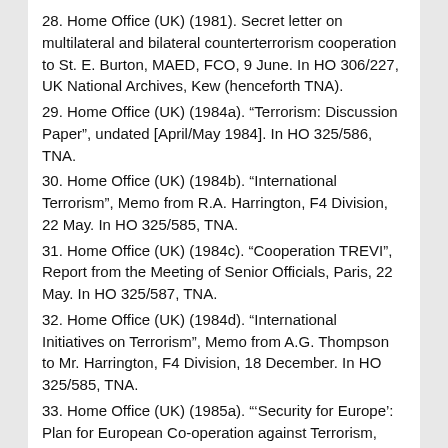28. Home Office (UK) (1981). Secret letter on multilateral and bilateral counterterrorism cooperation to St. E. Burton, MAED, FCO, 9 June. In HO 306/227, UK National Archives, Kew (henceforth TNA).
29. Home Office (UK) (1984a). “Terrorism: Discussion Paper”, undated [April/May 1984]. In HO 325/586, TNA.
30. Home Office (UK) (1984b). “International Terrorism”, Memo from R.A. Harrington, F4 Division, 22 May. In HO 325/585, TNA.
31. Home Office (UK) (1984c). “Cooperation TREVI”, Report from the Meeting of Senior Officials, Paris, 22 May. In HO 325/587, TNA.
32. Home Office (UK) (1984d). “International Initiatives on Terrorism”, Memo from A.G. Thompson to Mr. Harrington, F4 Division, 18 December. In HO 325/585, TNA.
33. Home Office (UK) (1985a). “‘Security for Europe’: Plan for European Co-operation against Terrorism, Crime and Drugs”, Translation of Italian Proposal, undated [April 1985]. In HO 325/589, TNA.
34. Home Office (UK) (1985b). “Italian Proposal: ‘Security for Europe’”, Undated Memo [April/May 1985]. In HO 325/590, TNA.